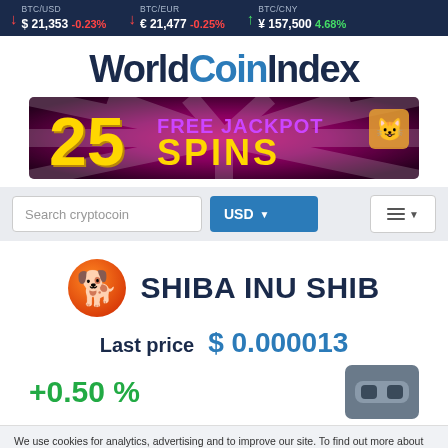BTC/USD $ 21,353 -0.23% | BTC/EUR € 21,477 -0.25% | BTC/CNY ¥ 157,500 4.68%
WorldCoinIndex
[Figure (infographic): Advertisement banner: 25 FREE JACKPOT SPINS with casino emoji, dark red/purple radial background with light rays]
[Figure (screenshot): Search bar with placeholder 'Search cryptocoin', USD dropdown button, and hamburger menu button]
SHIBA INU SHIB
Last price  $ 0.000013
+0.50 %
We use cookies for analytics, advertising and to improve our site. To find out more about our cookies, see our Privacy Policy. If you agree to our use of cookies, please continue to use our site or press the accept button. Learn more
Accept